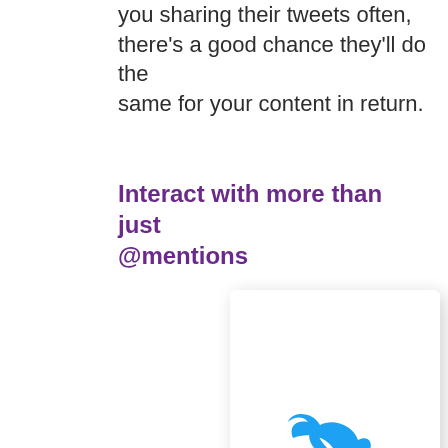you sharing their tweets often, there's a good chance they'll do the same for your content in return.
Interact with more than just @mentions
[Figure (illustration): A white card/panel with a Twitter bird logo in blue and the word TWEET in small caps next to it, resembling a tweet button or Twitter interface mockup.]